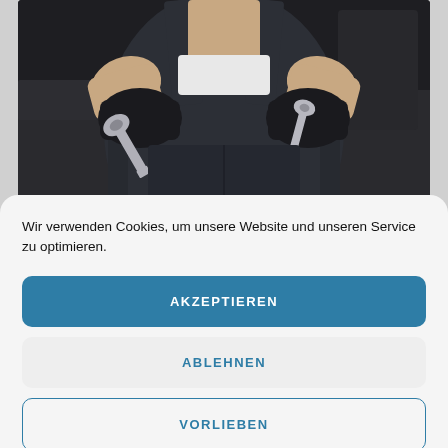[Figure (photo): A mechanic wearing dark work clothes and black leather gloves, holding two wrenches at waist level. The torso and hands are visible against a dark workshop background.]
Wir verwenden Cookies, um unsere Website und unseren Service zu optimieren.
AKZEPTIEREN
ABLEHNEN
VORLIEBEN